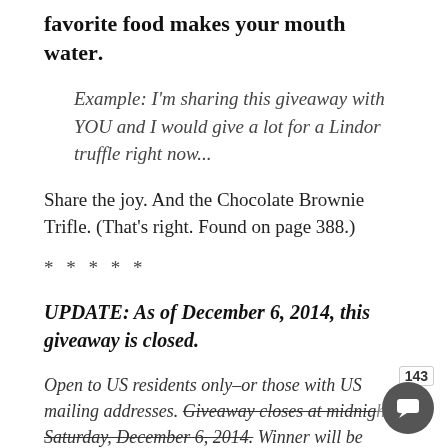favorite food makes your mouth water.
Example: I'm sharing this giveaway with YOU and I would give a lot for a Lindor truffle right now...
Share the joy. And the Chocolate Brownie Trifle. (That's right. Found on page 388.)
* * * * *
UPDATE: As of December 6, 2014, this giveaway is closed.
Open to US residents only–or those with US mailing addresses. Giveaway closes at midnight Saturday, December 6, 2014. Winner will be chosen